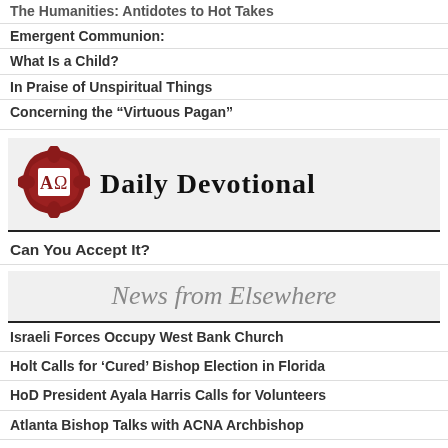The Humanities: Antidotes to Hot Takes
Emergent Communion:
What Is a Child?
In Praise of Unspiritual Things
Concerning the “Virtuous Pagan”
[Figure (logo): Daily Devotional logo with AΩ symbol in dark red decorative badge and text DAILY DEVOTIONAL]
Can You Accept It?
News from Elsewhere
Israeli Forces Occupy West Bank Church
Holt Calls for ‘Cured’ Bishop Election in Florida
HoD President Ayala Harris Calls for Volunteers
Atlanta Bishop Talks with ACNA Archbishop
Bp. Gunter: Lambeth Was About More Than Just Sex